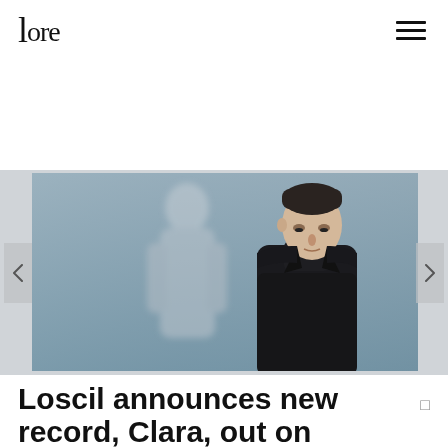lore
[Figure (photo): A man in a dark coat standing against a blurred, muted blue-grey background, looking downward. The image has a reflective or double-exposure quality.]
Loscil announces new record, Clara, out on May